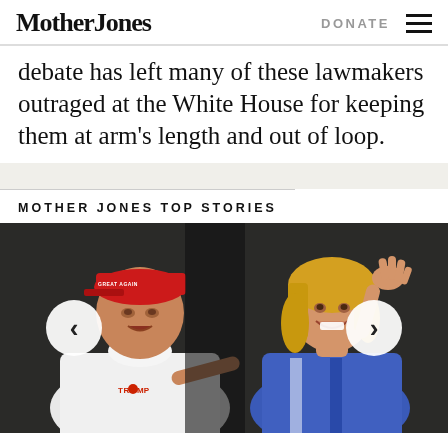Mother Jones | DONATE
debate has left many of these lawmakers outraged at the White House for keeping them at arm's length and out of loop.
MOTHER JONES TOP STORIES
[Figure (photo): Photo of a man in a white polo shirt with a red MAGA cap pointing at a woman with blonde hair who is waving, taken outdoors in daylight. Carousel navigation arrows on left and right sides.]